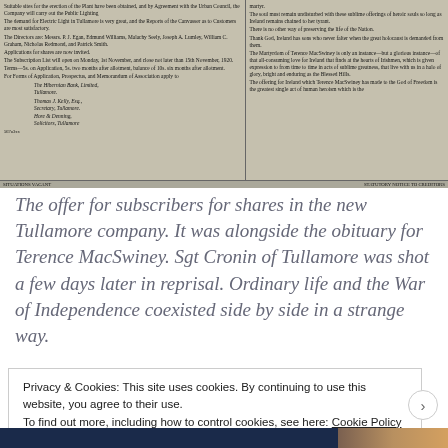[Figure (photo): Scanned newspaper clipping showing a share offer for a Tullamore electric lighting company and an adjacent column with text about Terence MacSwiney, circa 1920.]
The offer for subscribers for shares in the new Tullamore company. It was alongside the obituary for Terence MacSwiney. Sgt Cronin of Tullamore was shot a few days later in reprisal. Ordinary life and the War of Independence coexisted side by side in a strange way.
Privacy & Cookies: This site uses cookies. By continuing to use this website, you agree to their use.
To find out more, including how to control cookies, see here: Cookie Policy
Close and accept